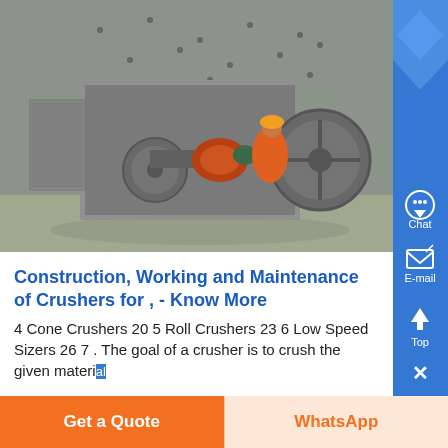[Figure (photo): Industrial crusher machine being worked on by a worker in orange safety gear, large mechanical equipment with metal housing and wheel, inside an industrial facility]
Construction, Working and Maintenance of Crushers for , - Know More
4 Cone Crushers 20 5 Roll Crushers 23 6 Low Speed Sizers 26 7 . The goal of a crusher is to crush the given materi